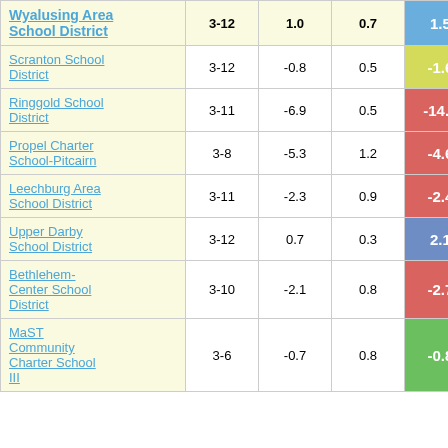| School District | Grades | Col3 | Col4 | Score |
| --- | --- | --- | --- | --- |
| Wyalusing Area School District | 3-12 | 1.0 | 0.7 | 1.58 |
| Scranton School District | 3-12 | -0.8 | 0.5 | -1.60 |
| Ringgold School District | 3-11 | -6.9 | 0.5 | -14.33 |
| Propel Charter School-Pitcairn | 3-8 | -5.3 | 1.2 | -4.63 |
| Leechburg Area School District | 3-11 | -2.3 | 0.9 | -2.40 |
| Upper Darby School District | 3-12 | 0.7 | 0.3 | 2.14 |
| Bethlehem-Center School District | 3-10 | -2.1 | 0.8 | -2.78 |
| MaST Community Charter School III | 3-6 | -0.7 | 0.8 | -0.81 |